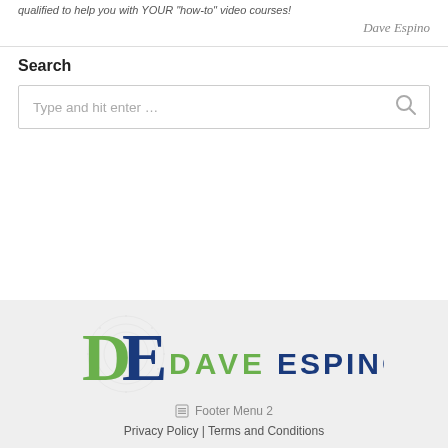qualified to help you with YOUR "how-to" video courses!
Dave Espino
Search
[Figure (screenshot): Search input box with placeholder text 'Type and hit enter...' and a search icon on the right]
[Figure (logo): Dave Espino logo with green D and blue E letters followed by DAVE ESPINO text in green and blue]
Footer Menu 2
Privacy Policy | Terms and Conditions